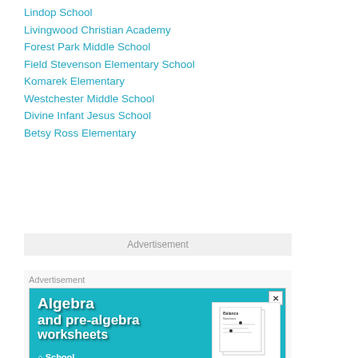Lindop School 0.9
Livingwood Christian Academy 1.3
Forest Park Middle School 1.6
Field Stevenson Elementary School 1.6
Komarek Elementary 1.6
Westchester Middle School 1.7
Divine Infant Jesus School 1.9
Betsy Ross Elementary 2
Advertisement
[Figure (other): Advertisement banner for Algebra and pre-algebra worksheets from School (schoolexpress or similar). Teal/cyan background with bold white text reading 'Algebra and pre-algebra worksheets' with worksheet images on the right side and a school logo at the bottom left.]